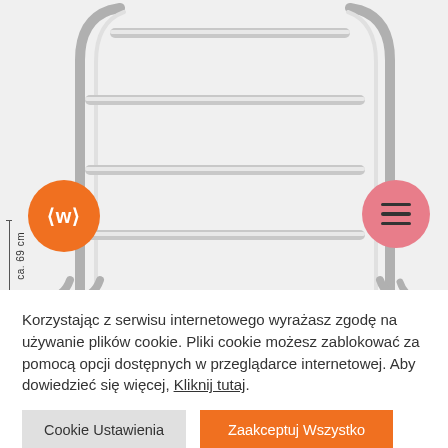[Figure (photo): Chrome towel rack/stand with multiple horizontal bars, shown on white background with a dimension indicator of ca. 69 cm on the left side. An orange LWH logo circle is on the left and a pink/salmon hamburger menu circle on the right.]
ca. 69 cm
Korzystając z serwisu internetowego wyrażasz zgodę na używanie plików cookie. Pliki cookie możesz zablokować za pomocą opcji dostępnych w przeglądarce internetowej. Aby dowiedzieć się więcej, Kliknij tutaj.
Cookie Ustawienia
Zaakceptuj Wszystko